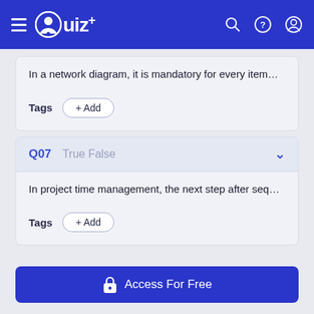Quiz+
In a network diagram, it is mandatory for every item...
Tags  + Add
Q07  True False
In project time management, the next step after seq...
Tags  + Add
Access For Free